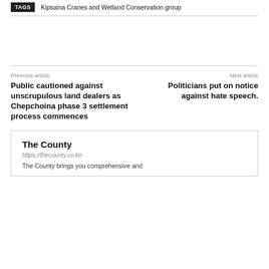TAGS  Kipsaina Cranes and Wetland Conservation group
Previous article
Public cautioned against unscrupulous land dealers as Chepchoina phase 3 settlement process commences
Next article
Politicians put on notice against hate speech.
The County
https://thecounty.co.ke
The County brings you comprehensive and